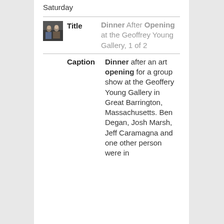Saturday
[Figure (photo): Small thumbnail photo showing people at a gallery dinner event]
Dinner After Opening at the Geoffrey Young Gallery, 1 of 2
Dinner after an art opening for a group show at the Geoffery Young Gallery in Great Barrington, Massachusetts. Ben Degan, Josh Marsh, Jeff Caramagna and one other person were in